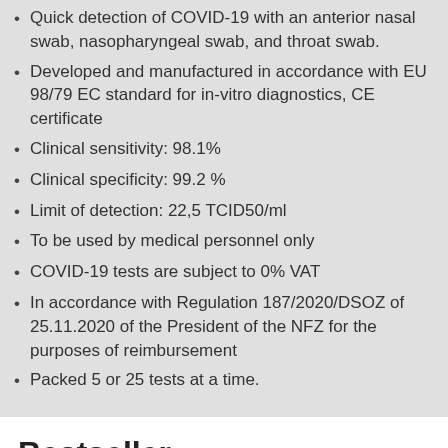Quick detection of COVID-19 with an anterior nasal swab, nasopharyngeal swab, and throat swab.
Developed and manufactured in accordance with EU 98/79 EC standard for in-vitro diagnostics, CE certificate
Clinical sensitivity: 98.1%
Clinical specificity: 99.2 %
Limit of detection: 22,5 TCID50/ml
To be used by medical personnel only
COVID-19 tests are subject to 0% VAT
In accordance with Regulation 187/2020/DSOZ of 25.11.2020 of the President of the NFZ for the purposes of reimbursement
Packed 5 or 25 tests at a time.
Bestseller